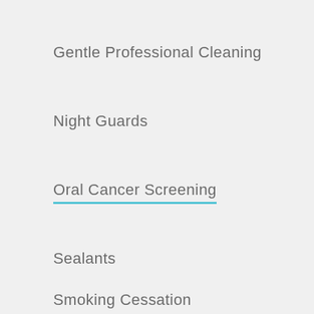Gentle Professional Cleaning
Night Guards
Oral Cancer Screening
Sealants
Smoking Cessation